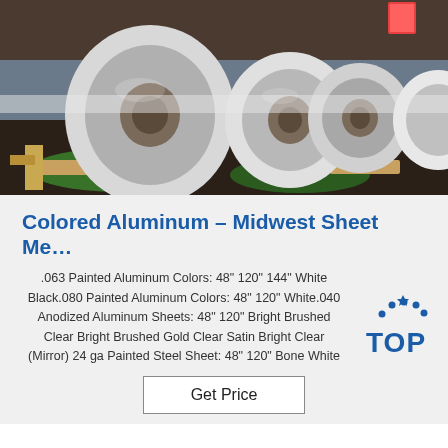[Figure (photo): Large rolls of aluminum coil sheet metal stored in a warehouse on wooden pallets, with green packaging material visible on the floor.]
Colored Aluminum – Midwest Sheet Me…
.063 Painted Aluminum Colors: 48" 120" 144" White Black.080 Painted Aluminum Colors: 48" 120" White.040 Anodized Aluminum Sheets: 48" 120" Bright Brushed Clear Bright Brushed Gold Clear Satin Bright Clear (Mirror) 24 ga Painted Steel Sheet: 48" 120" Bone White
[Figure (logo): TOP badge logo with blue dotted arc above the letters TOP in blue, with a star over the O.]
Get Price